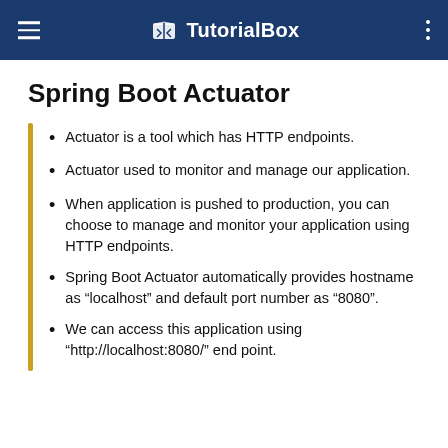TutorialBox
Spring Boot Actuator
Actuator is a tool which has HTTP endpoints.
Actuator used to monitor and manage our application.
When application is pushed to production, you can choose to manage and monitor your application using HTTP endpoints.
Spring Boot Actuator automatically provides hostname as “localhost” and default port number as “8080”.
We can access this application using “http://localhost:8080/” end point.